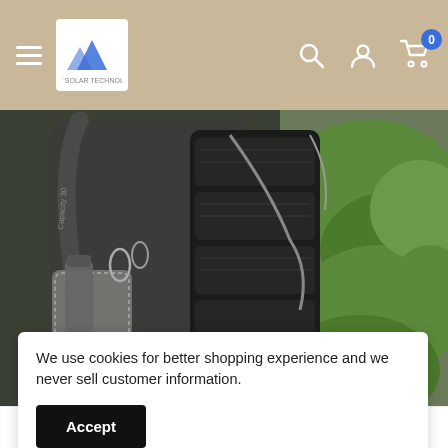Navigation bar with hamburger menu, logo, search, account, and cart icons (0 items)
[Figure (photo): A person wearing a backpack with a foldable solar charger panel attached to the back. The backpack has a mesh side pocket with a water bottle and other gear. Green foliage visible in the background. Text on backpack strap reads 'Capacity 30'.]
We use cookies for better shopping experience and we never sell customer information.
Accept
High efficiency power conversion